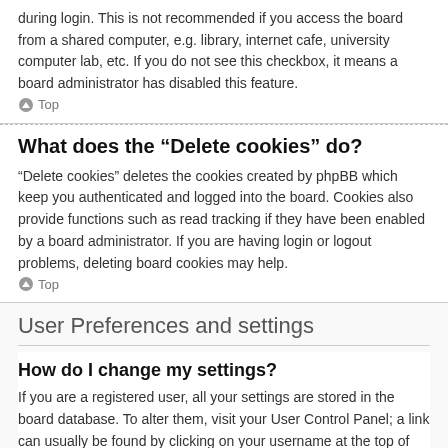during login. This is not recommended if you access the board from a shared computer, e.g. library, internet cafe, university computer lab, etc. If you do not see this checkbox, it means a board administrator has disabled this feature.
Top
What does the “Delete cookies” do?
“Delete cookies” deletes the cookies created by phpBB which keep you authenticated and logged into the board. Cookies also provide functions such as read tracking if they have been enabled by a board administrator. If you are having login or logout problems, deleting board cookies may help.
Top
User Preferences and settings
How do I change my settings?
If you are a registered user, all your settings are stored in the board database. To alter them, visit your User Control Panel; a link can usually be found by clicking on your username at the top of board pages. This system will allow you to change all your settings and preferences.
Top